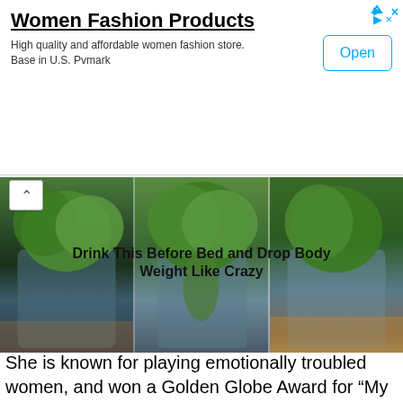[Figure (screenshot): Advertisement banner for Women Fashion Products with an Open button]
Women Fashion Products
High quality and affordable women fashion store. Base in U.S. Pvmark
[Figure (photo): Three glass jars or containers with green leafy plants/vegetables inside, placed on a surface]
Drink This Before Bed and Drop Body Weight Like Crazy
She is known for playing emotionally troubled women, and won a Golden Globe Award for “My Week with Marilyn” in which she portrayed Marilyn Monroe. Her most successful films include “Shutter Island” and “Oz the Great and Powerful”, both of which were successful at the box office. She also appeared in the musical “The Greatest Showman”, and in various stage productions including the drama ‘Blackbird” for which she was nominated for a Tony Award.